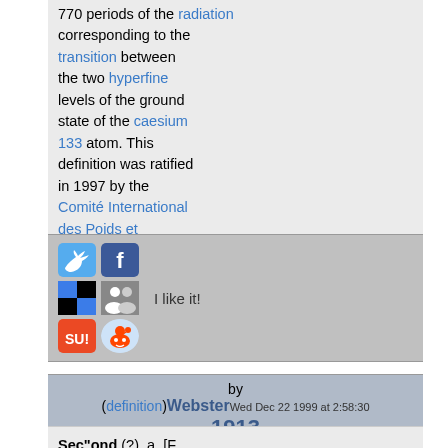770 periods of the radiation corresponding to the transition between the two hyperfine levels of the ground state of the caesium 133 atom. This definition was ratified in 1997 by the Comité International des Poids et Mesures.
[Figure (infographic): Social sharing buttons: Twitter, Facebook, Delicious, user group icon, StumbleUpon, Reddit icons with 'I like it!' text]
by (definition)Webster 1913   Wed Dec 22 1999 at 2:58:30
Sec"ond (?), a. [F., fr. L. secundus